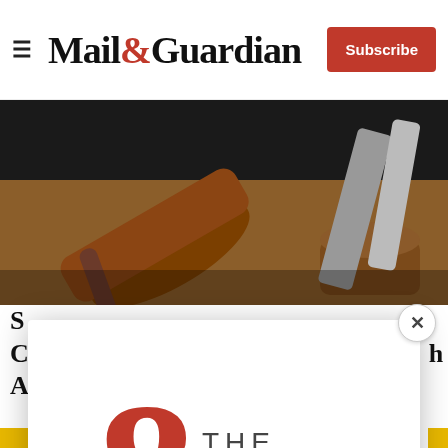Mail&Guardian — Subscribe
[Figure (photo): Close-up of a wooden judge's gavel resting on its sound block, with metallic objects in the background]
S... C... A...h
[Figure (infographic): The Ampersand newsletter modal popup with logo, tagline 'Stay informed. Every weekday.', email input field, and Signup now button]